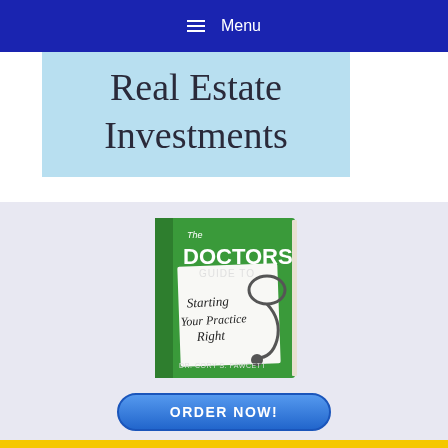Menu
[Figure (illustration): Banner image with light blue background showing text 'Real Estate Investments' in large dark serif font]
[Figure (illustration): Book cover: 'The Doctors Guide to Starting Your Practice Right' by Dr. Cory S. Fawcett, green cover with stethoscope graphic]
[Figure (illustration): Blue rounded button labeled 'ORDER NOW!']
[Figure (illustration): Yellow strip partially visible at bottom of page]